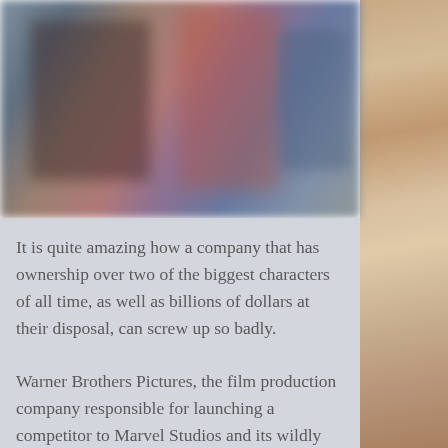[Figure (photo): Blurred photo image at top center, showing indistinct figures with dark and reddish tones]
[Figure (photo): Warm-toned photo on the right side showing what appears to be books or papers stacked, with warm orange/tan colors]
It is quite amazing how a company that has ownership over two of the biggest characters of all time, as well as billions of dollars at their disposal, can screw up so badly.
Warner Brothers Pictures, the film production company responsible for launching a competitor to Marvel Studios and its wildly successful MCU had basically one job: take all the characters that everyone loves and put them in a film together. The results of this would be rockier than anyone expected, with its